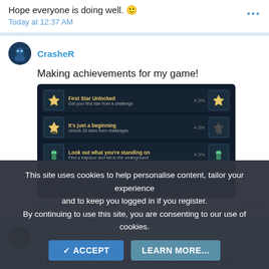Hope everyone is doing well. 🙂
Today at 12:37 AM
CrasheR
Making achievements for my game!
[Figure (screenshot): Steam-style achievements list on dark background showing: 'First Star Unlocked' - Get your first star from a challenge 4.3%, 'It's just a beginning' - Unlock 20 stars from challenges 4.3%, 'Look out what you're standing on' - Find a trapdoor and fall to the underground 4.3%, 'I'm starting to love it' - Unlock 40 stars from challenge 0%]
Yesterday at 11:03 PM
Philosophus Vagus
If you are an officer and you just want to go faster than the speed limit can you at least leave the lights on until you are out of sight? Kinda annoying
This site uses cookies to help personalise content, tailor your experience and to keep you logged in if you register.
By continuing to use this site, you are consenting to our use of cookies.
✓ ACCEPT
LEARN MORE...